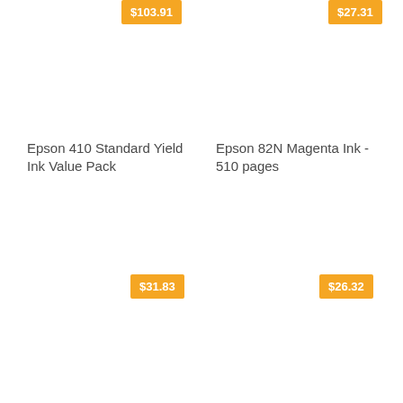$103.91
$27.31
Epson 410 Standard Yield Ink Value Pack
Epson 82N Magenta Ink - 510 pages
$31.83
$26.32